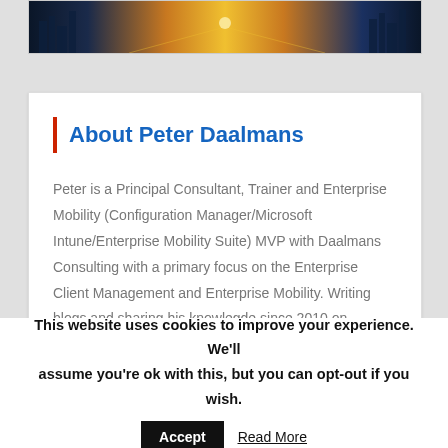[Figure (photo): Cityscape/highway night photo with orange and blue tones]
About Peter Daalmans
Peter is a Principal Consultant, Trainer and Enterprise Mobility (Configuration Manager/Microsoft Intune/Enterprise Mobility Suite) MVP with Daalmans Consulting with a primary focus on the Enterprise Client Management and Enterprise Mobility. Writing blogs and sharing his knowlegde since 2010 on ConfigMgrBlog.com / PeterDaalmans.com.
This website uses cookies to improve your experience. We'll assume you're ok with this, but you can opt-out if you wish.